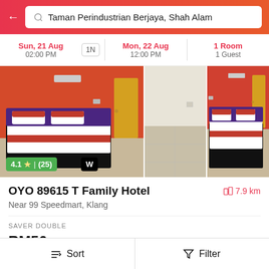Taman Perindustrian Berjaya, Shah Alam
Sun, 21 Aug 02:00 PM | 1N | Mon, 22 Aug 12:00 PM | 1 Room 1 Guest
[Figure (photo): Hotel room photos showing beds with red and white bedding against orange walls]
4.1 ★ | (25) W
OYO 89615 T Family Hotel
7.9 km
Near 99 Speedmart, Klang
SAVER DOUBLE
RM56 RM147 61% OFF
Sort   Filter